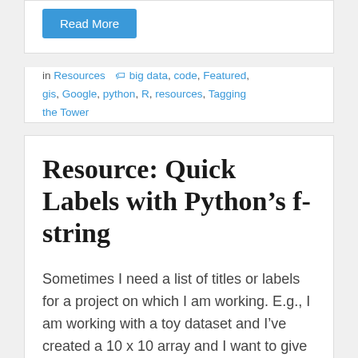[Figure (other): Blue 'Read More' button]
in Resources  big data, code, Featured, gis, Google, python, R, resources, Tagging the Tower
Resource: Quick Labels with Python's f-string
Sometimes I need a list of titles or labels for a project on which I am working. E.g., I am working with a toy dataset and I've created a 10 x 10 array and I want to give the rows and columns headers so I can try slicing and dicing. I prefer human-readable/thinkable names for…
[Figure (other): Blue 'Read More' button (partial, cut off at bottom)]